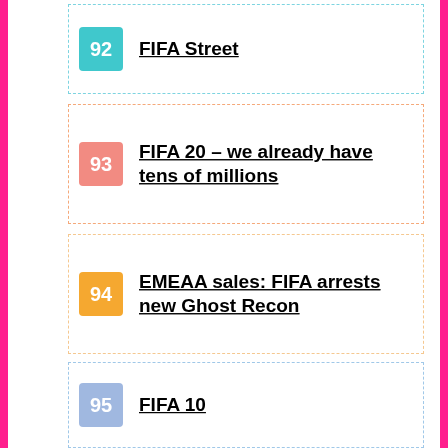92 FIFA Street
93 FIFA 20 – we already have tens of millions
94 EMEAA sales: FIFA arrests new Ghost Recon
95 FIFA 10
96 EMEAA Sales – FIFA 20 arrived and took the lead